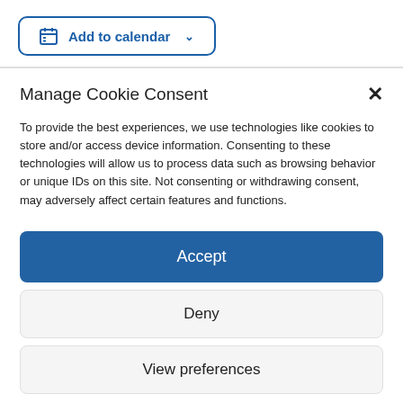[Figure (screenshot): Add to calendar button with calendar icon and dropdown chevron, styled with blue border and text]
Manage Cookie Consent
To provide the best experiences, we use technologies like cookies to store and/or access device information. Consenting to these technologies will allow us to process data such as browsing behavior or unique IDs on this site. Not consenting or withdrawing consent, may adversely affect certain features and functions.
Accept
Deny
View preferences
Cookie Policy  Privacy Policy